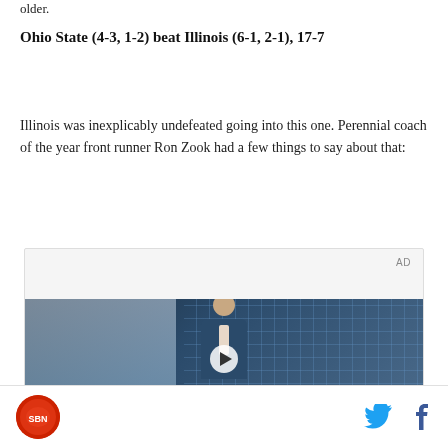older.
Ohio State (4-3, 1-2) beat Illinois (6-1, 2-1), 17-7
Illinois was inexplicably undefeated going into this one. Perennial coach of the year front runner Ron Zook had a few things to say about that:
[Figure (screenshot): Advertisement video player showing a young man in a denim jacket in front of a grid-windowed building, with text 'Unfold your world' and a play button overlay. AD label in top right corner.]
Logo and social media icons (Twitter, Facebook)